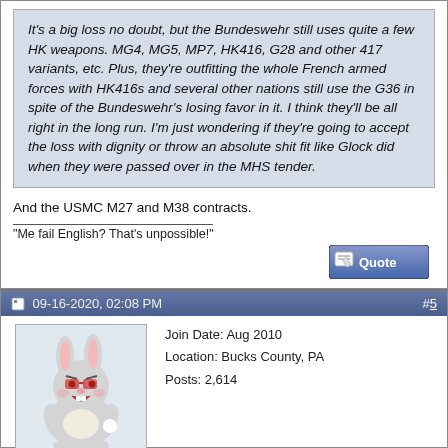It's a big loss no doubt, but the Bundeswehr still uses quite a few HK weapons. MG4, MG5, MP7, HK416, G28 and other 417 variants, etc. Plus, they're outfitting the whole French armed forces with HK416s and several other nations still use the G36 in spite of the Bundeswehr's losing favor in it. I think they'll be all right in the long run. I'm just wondering if they're going to accept the loss with dignity or throw an absolute shit fit like Glock did when they were passed over in the MHS tender.
And the USMC M27 and M38 contracts.
"Me fail English? That's unpossible!"
09-16-2020, 02:08 PM   #5
funkychinaman
IMFDB & Forum Admin
Join Date: Aug 2010
Location: Bucks County, PA
Posts: 2,614